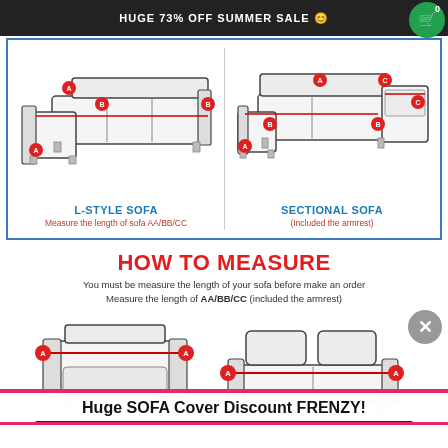HUGE 73% OFF SUMMER SALE 😊
[Figure (illustration): L-Style Sofa and Sectional Sofa diagrams with measurement labels A, B, C marked in red circles]
L-STYLE SOFA
Measure the length of sofa AA/BB/CC
SECTIONAL SOFA
(Included the armrest)
HOW TO MEASURE
You must be measure the length of your sofa before make an order
Measure the length of AA/BB/CC (included the armrest)
[Figure (illustration): Armchair and loveseat sofa diagrams with red measurement lines and A labels]
Huge SOFA Cover Discount FRENZY!
SUBSCRIBE FOR DISCOUNTS